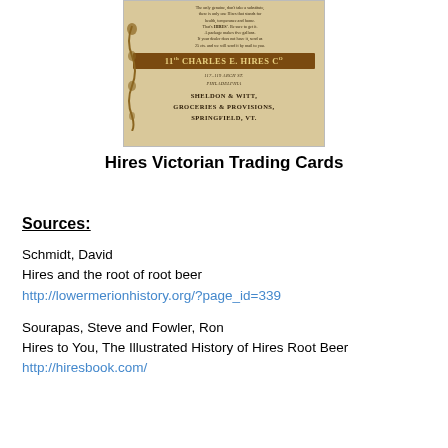[Figure (photo): Vintage sepia-toned Victorian trading card for Charles E. Hires Co. root beer, showing promotional text at top, brand name banner, address in Philadelphia, and retailer Sheldon & Witt, Groceries & Provisions, Springfield, VT at bottom. Decorative scrollwork on left side.]
Hires Victorian Trading Cards
Sources:
Schmidt, David
Hires and the root of root beer
http://lowermerionhistory.org/?page_id=339
Sourapas, Steve and Fowler, Ron
Hires to You, The Illustrated History of Hires Root Beer
http://hiresbook.com/